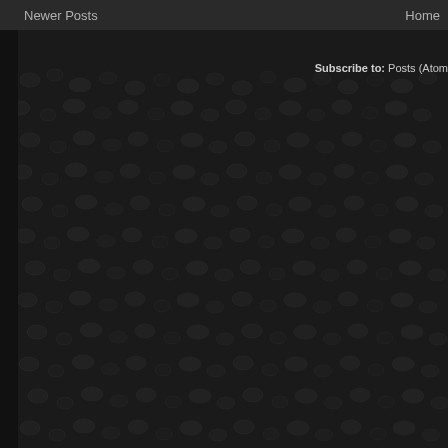Newer Posts    Home
Subscribe to: Posts (Atom)
[Figure (photo): Dark pebbled leather texture background covering most of the page]